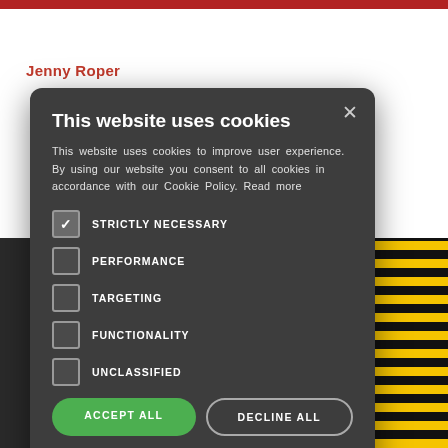Jenny Roper
[Figure (screenshot): Cookie consent modal dialog on a website. Dark gray rounded modal with title 'This website uses cookies', descriptive text, checkboxes for STRICTLY NECESSARY (checked), PERFORMANCE, TARGETING, FUNCTIONALITY, UNCLASSIFIED (all unchecked), green ACCEPT ALL button, outlined DECLINE ALL button, and a SHOW DETAILS link with gear icon. Background shows partial page content with red top bar, author name 'Jenny Roper', partial large text letters 'e' and '&A', and yellow/black striped image in bottom right.]